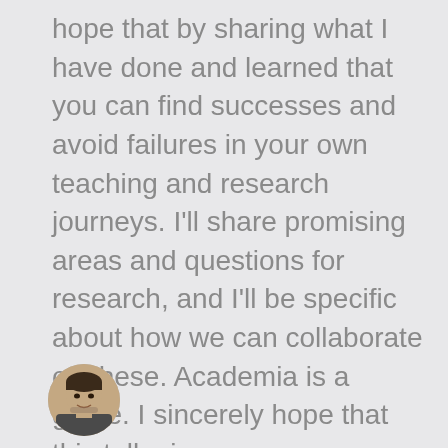hope that by sharing what I have done and learned that you can find successes and avoid failures in your own teaching and research journeys. I'll share promising areas and questions for research, and I'll be specific about how we can collaborate on these. Academia is a game. I sincerely hope that this talk gives you some more tools to play it your way, and well.
[Figure (photo): Circular avatar photo of a man, partially visible at the bottom left of the page.]